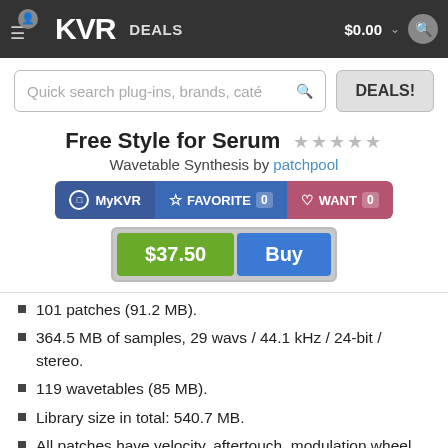KVR DEALS $0.00
Quick search plug-ins, brands, cate
DEALS!
Free Style for Serum
Wavetable Synthesis by patchpool
MyKVR  FAVORITE 0  WANT 0
$37.50  Buy
101 patches (91.2 MB).
364.5 MB of samples, 29 wavs / 44.1 kHz / 24-bit / stereo.
119 wavetables (85 MB).
Library size in total: 540.7 MB.
All patches have velocity, aftertouch, modulation wheel and four Macros assigned.